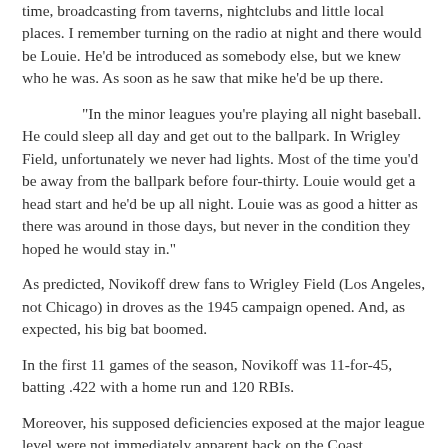time, broadcasting from taverns, nightclubs and little local places. I remember turning on the radio at night and there would be Louie. He'd be introduced as somebody else, but we knew who he was. As soon as he saw that mike he'd be up there.
“In the minor leagues you’re playing all night baseball. He could sleep all day and get out to the ballpark. In Wrigley Field, unfortunately we never had lights. Most of the time you’d be away from the ballpark before four-thirty. Louie would get a head start and he’d be up all night. Louie was as good a hitter as there was around in those days, but never in the condition they hoped he would stay in.”
As predicted, Novikoff drew fans to Wrigley Field (Los Angeles, not Chicago) in droves as the 1945 campaign opened. And, as expected, his big bat boomed.
In the first 11 games of the season, Novikoff was 11-for-45, batting .422 with a home run and 120 RBIs.
Moreover, his supposed deficiencies exposed at the major league level were not immediately apparent back on the Coast.